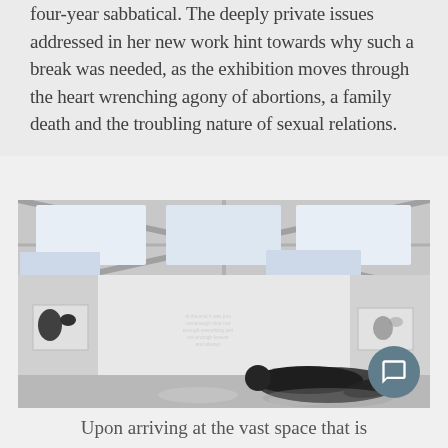four-year sabbatical. The deeply private issues addressed in her new work hint towards why such a break was needed, as the exhibition moves through the heart wrenching agony of abortions, a family death and the troubling nature of sexual relations.
[Figure (photo): Interior of a modern white gallery space with skylight ceiling panels, polished concrete floor, artworks on walls, a neon/text piece on the back wall, and a dark bronze figurative sculpture lying on the floor in the foreground.]
Upon arriving at the vast space that is